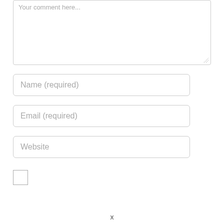[Figure (other): A textarea input box with placeholder text 'Your comment here...' and a resize handle in the bottom-right corner]
Name (required)
Email (required)
Website
[Figure (other): An empty checkbox]
x